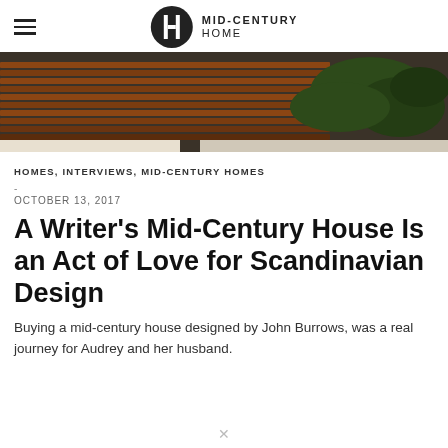MID-CENTURY HOME
[Figure (photo): Exterior photo of a mid-century house showing horizontal wood siding and lush green shrubbery]
HOMES, INTERVIEWS, MID-CENTURY HOMES
-
OCTOBER 13, 2017
A Writer's Mid-Century House Is an Act of Love for Scandinavian Design
Buying a mid-century house designed by John Burrows, was a real journey for Audrey and her husband.